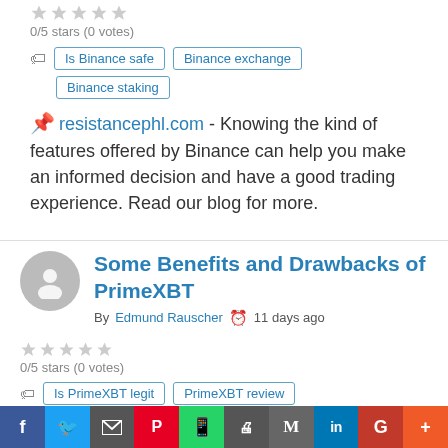0/5 stars (0 votes)
Is Binance safe | Binance exchange | Binance staking
resistancephl.com - Knowing the kind of features offered by Binance can help you make an informed decision and have a good trading experience. Read our blog for more.
Some Benefits and Drawbacks of PrimeXBT
By Edmund Rauscher 11 days ago
0/5 stars (0 votes)
Is PrimeXBT legit | PrimeXBT review
rifenews.com - If you are interested in